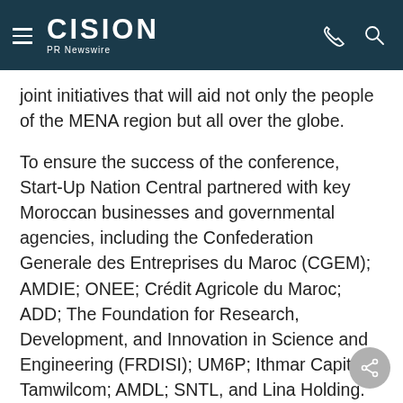CISION PR Newswire
joint initiatives that will aid not only the people of the MENA region but all over the globe.
To ensure the success of the conference, Start-Up Nation Central partnered with key Moroccan businesses and governmental agencies, including the Confederation Generale des Entreprises du Maroc (CGEM); AMDIE; ONEE; Crédit Agricole du Maroc; ADD; The Foundation for Research, Development, and Innovation in Science and Engineering (FRDISI); UM6P; Ithmar Capital; Tamwilcom; AMDL; SNTL, and Lina Holding.